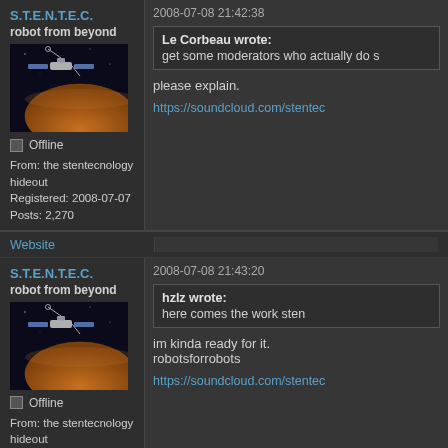S.T.E.N.T.E.C.
robot from beyond
[Figure (photo): Avatar image of a spacecraft near a planet]
Offline
From: the stentecnology hideout
Registered: 2008-07-07
Posts: 2,270
2008-07-08 21:42:38
Le Corbeau wrote:
get some moderators who actually do s
please explain.
https://soundcloud.com/stentec
Website
S.T.E.N.T.E.C.
robot from beyond
[Figure (photo): Avatar image of a spacecraft near a planet]
Offline
From: the stentecnology hideout
Registered: 2008-07-07
Posts: 2,270
2008-07-08 21:43:20
hzlz wrote:
here comes the work sten
im kinda ready for it.
robotsforrobots
https://soundcloud.com/stentec
Website
x.x.x.x
2008-07-08 00:09:19